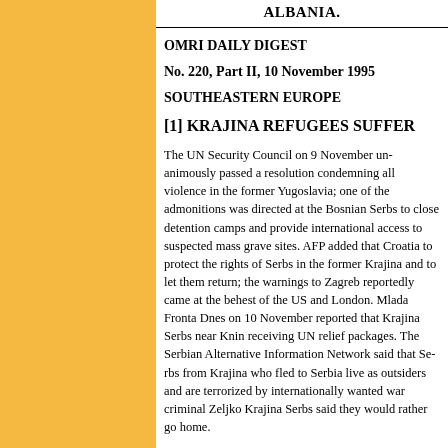ALBANIA.
OMRI DAILY DIGEST
No. 220, Part II, 10 November 1995
SOUTHEASTERN EUROPE
[1] KRAJINA REFUGEES SUFFER
The UN Security Council on 9 November unanimously passed a resolution condemning all violence in the former Yugoslavia; one of the admonitions was directed at the Bosnian Serbs to close detention camps and provide international access to suspected mass grave sites. AFP added that Croatia to protect the rights of Serbs in the former Krajina and to let them return; the warnings to Zagreb reportedly came at the behest of the US and London. Mlada Fronta Dnes on 10 November reported that Krajina Serbs near Knin receiving UN relief packages. The Serbian Alternative Information Network said that Serbs from Krajina who fled to Serbia live as outsiders and are terrorized by internationally wanted war criminal Zeljko Raznatovic; Krajina Serbs said they would rather go home.